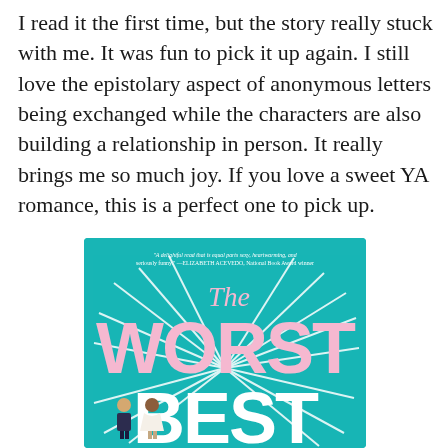I read it the first time, but the story really stuck with me. It was fun to pick it up again. I still love the epistolary aspect of anonymous letters being exchanged while the characters are also building a relationship in person. It really brings me so much joy. If you love a sweet YA romance, this is a perfect one to pick up.
[Figure (illustration): Book cover for 'The Worst Best' on a teal/turquoise background with pink title text 'WORST' and white text 'BEST', with 'The' in pink cursive script above. A quote at the top reads: 'A delightful read that is equal parts sexy, heartwarming, and seriously funny.' —ELIZABETH ACEVEDO, National Book Award winner. Sunburst ray lines radiate from behind the text. Two small illustrated characters appear at the bottom.]